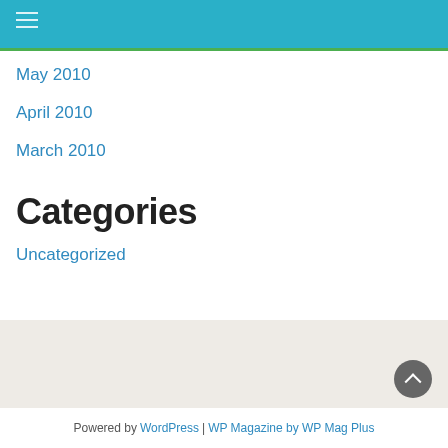Navigation menu icon
May 2010
April 2010
March 2010
Categories
Uncategorized
Powered by WordPress | WP Magazine by WP Mag Plus